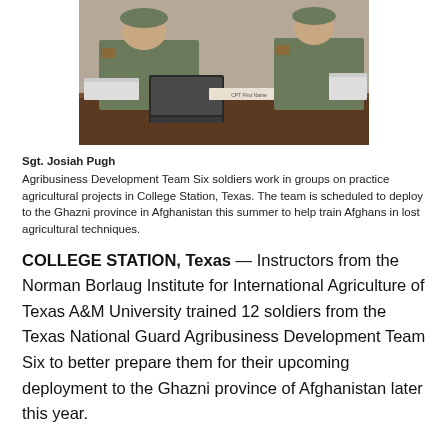[Figure (photo): Two soldiers in camouflage uniforms sitting at a table with a laptop and green cup, working in a meeting room setting.]
Sgt. Josiah Pugh
Agribusiness Development Team Six soldiers work in groups on practice agricultural projects in College Station, Texas. The team is scheduled to deploy to the Ghazni province in Afghanistan this summer to help train Afghans in lost agricultural techniques.
COLLEGE STATION, Texas — Instructors from the Norman Borlaug Institute for International Agriculture of Texas A&M University trained 12 soldiers from the Texas National Guard Agribusiness Development Team Six to better prepare them for their upcoming deployment to the Ghazni province of Afghanistan later this year.